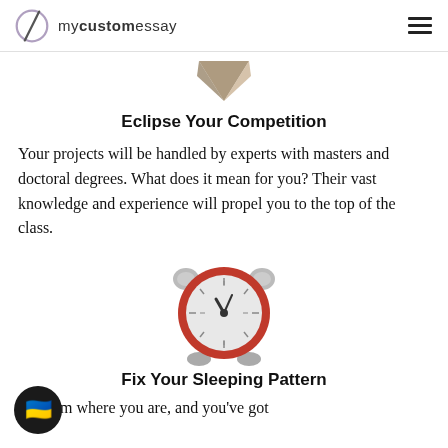mycustomessay
[Figure (illustration): A brown/tan diamond shape pointing downward, resembling a decorative icon or trophy tip.]
Eclipse Your Competition
Your projects will be handled by experts with masters and doctoral degrees. What does it mean for you? Their vast knowledge and experience will propel you to the top of the class.
[Figure (illustration): A red alarm clock with gray bells on top and gray feet on the bottom, clock face showing approximately 11:55.]
Fix Your Sleeping Pattern
It's 1 am where you are, and you've got